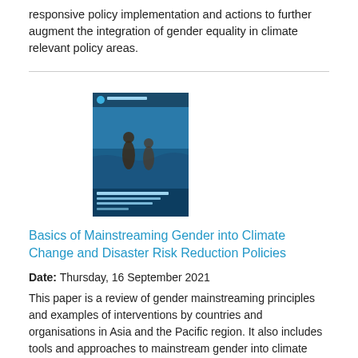responsive policy implementation and actions to further augment the integration of gender equality in climate relevant policy areas.
[Figure (photo): Book cover for 'Basics of Mainstreaming Gender into Climate Change and Disaster Risk Reduction Policies' showing people in water]
Basics of Mainstreaming Gender into Climate Change and Disaster Risk Reduction Policies
Date: Thursday, 16 September 2021
This paper is a review of gender mainstreaming principles and examples of interventions by countries and organisations in Asia and the Pacific region. It also includes tools and approaches to mainstream gender into climate change and disaster risk reduction policies.
[Figure (photo): Partial book cover image at bottom of page]